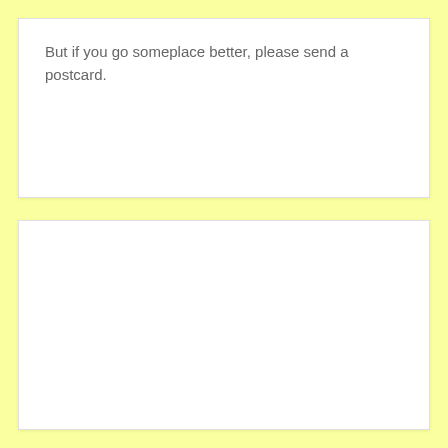But if you go someplace better, please send a postcard.